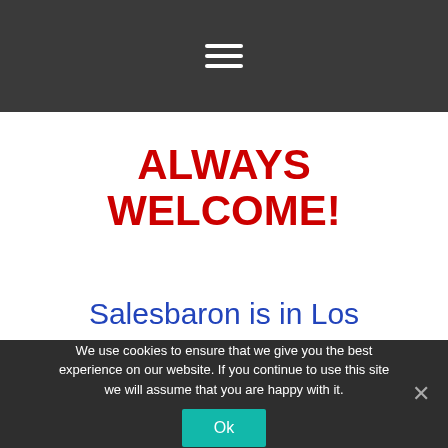☰
ALWAYS WELCOME!
Salesbaron is in Los Angeles, 90039
We use cookies to ensure that we give you the best experience on our website. If you continue to use this site we will assume that you are happy with it.